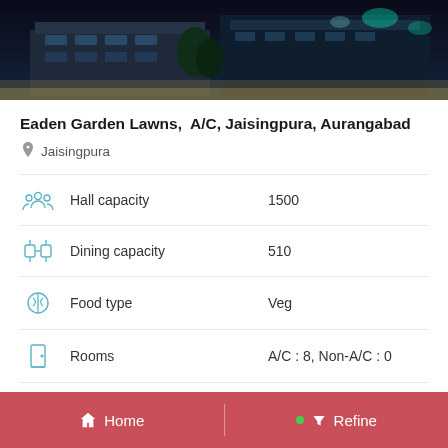[Figure (photo): Nighttime photo of Eaden Garden Lawns venue building with bright lights]
Eaden Garden Lawns,  A/C, Jaisingpura, Aurangabad
Jaisingpura
Hall capacity    1500
Dining capacity    510
Food type    Veg
Rooms    A/C : 8, Non-A/C : 0
Home    Refine